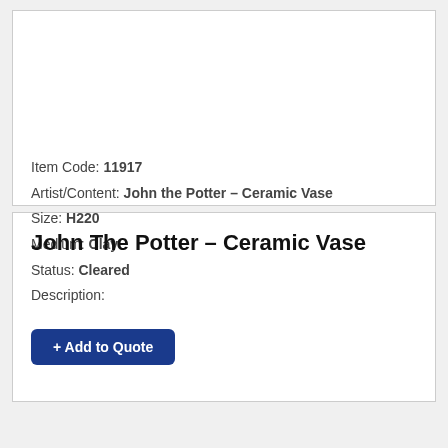Item Code: 11917
Artist/Content: John the Potter – Ceramic Vase
Size: H220
Medium: Clay
Status: Cleared
Description:
+ Add to Quote
John The Potter – Ceramic Vase